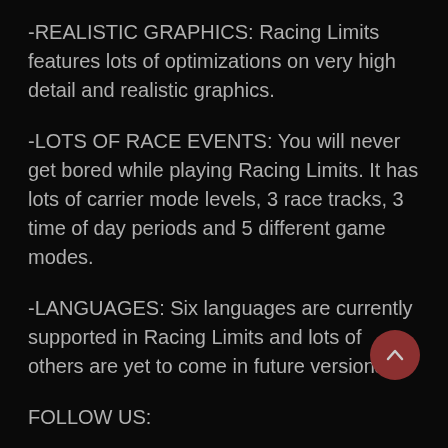-REALISTIC GRAPHICS: Racing Limits features lots of optimizations on very high detail and realistic graphics.
-LOTS OF RACE EVENTS: You will never get bored while playing Racing Limits. It has lots of carrier mode levels, 3 race tracks, 3 time of day periods and 5 different game modes.
-LANGUAGES: Six languages are currently supported in Racing Limits and lots of others are yet to come in future versions.
FOLLOW US: